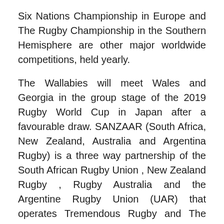Six Nations Championship in Europe and The Rugby Championship in the Southern Hemisphere are other major worldwide competitions, held yearly.
The Wallabies will meet Wales and Georgia in the group stage of the 2019 Rugby World Cup in Japan after a favourable draw. SANZAAR (South Africa, New Zealand, Australia and Argentina Rugby) is a three way partnership of the South African Rugby Union , New Zealand Rugby , Rugby Australia and the Argentine Rugby Union (UAR) that operates Tremendous Rugby and The Rugby Championship (formerly the Tri Nations before the entry of Argentina).
Groups compete in a league programme and cup competition throughout the academic year. Easts Rugby Union Club has developed this masterplan